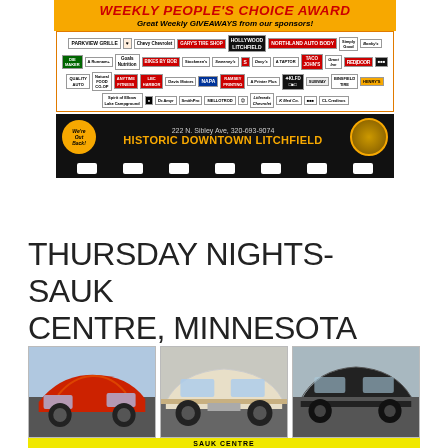[Figure (infographic): Weekly People's Choice Award banner with sponsor logos, Historic Downtown Litchfield info, address 222 N. Sibley Ave, 320-693-9074, film strip at bottom]
THURSDAY NIGHTS- SAUK CENTRE, MINNESOTA
[Figure (photo): Three classic cars side by side: red muscle car, cream vintage car, black vintage car]
[Figure (infographic): Sauk Centre Park and Shine yellow banner with bold black text]